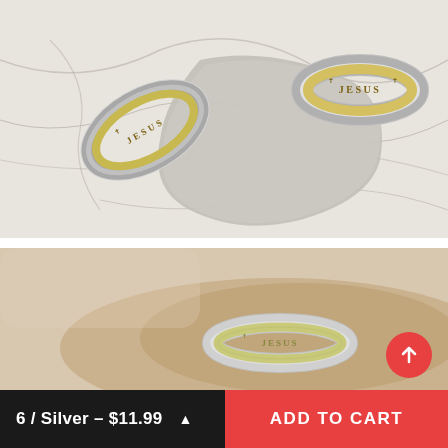[Figure (photo): Two silver rings with gold 'JESUS' inscription displayed on a marble surface with a grey cloth. One ring is lying flat showing the inscription, the other is standing upright.]
[Figure (photo): Close-up of a silver ring with gold 'JESUS' inscription being worn on a finger against a beige background.]
6 / Silver – $11.99
ADD TO CART